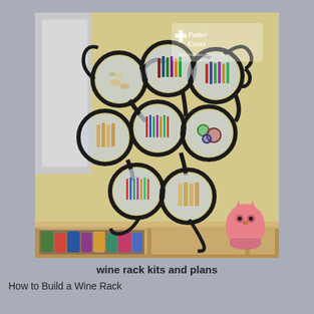[Figure (photo): A decorative black metal wine rack repurposed as a craft supply organizer, holding multiple glass jars filled with colored pencils, wooden craft sticks, and other art supplies, sitting on top of a wooden cube shelf unit. A pink ceramic owl figurine is on the right side of the shelf. The shelf below holds rolled fabric and paper. A watermark reads 'Patter Cross' in the upper portion of the image.]
wine rack kits and plans
How to Build a Wine Rack